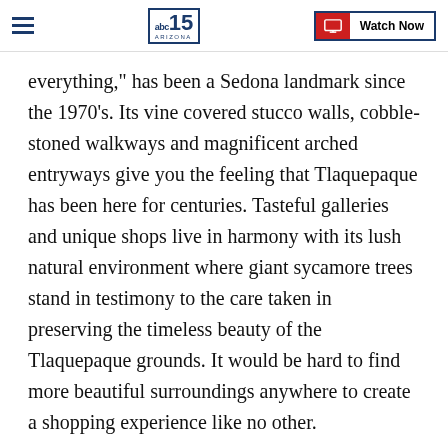abc15 ARIZONA | Watch Now
everything," has been a Sedona landmark since the 1970's. Its vine covered stucco walls, cobble-stoned walkways and magnificent arched entryways give you the feeling that Tlaquepaque has been here for centuries. Tasteful galleries and unique shops live in harmony with its lush natural environment where giant sycamore trees stand in testimony to the care taken in preserving the timeless beauty of the Tlaquepaque grounds. It would be hard to find more beautiful surroundings anywhere to create a shopping experience like no other.
Originally conceived as an artist community